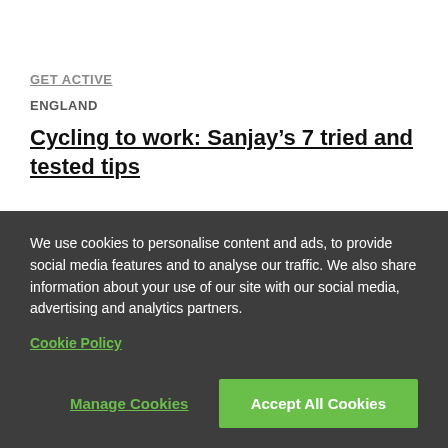GET ACTIVE
ENGLAND
Cycling to work: Sanjay’s 7 tried and tested tips
PROJECTS
We use cookies to personalise content and ads, to provide social media features and to analyse our traffic. We also share information about your use of our site with our social media, advertising and analytics partners.
Cookie Policy
Manage Cookies
Accept All Cookies